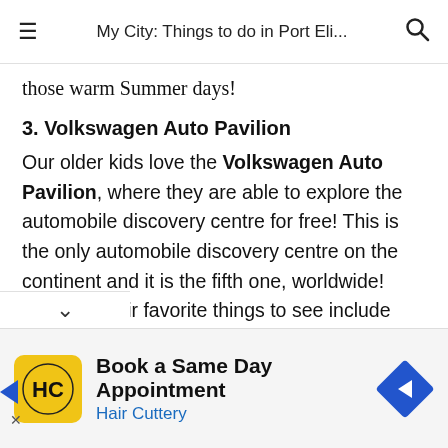My City: Things to do in Port Eli...
those warm Summer days!
3. Volkswagen Auto Pavilion
Our older kids love the Volkswagen Auto Pavilion, where they are able to explore the automobile discovery centre for free! This is the only automobile discovery centre on the continent and it is the fifth one, worldwide! Some of their favorite things to see include checking out the words oldest kombi and a car as sliced in half, by laser!
[Figure (infographic): Advertisement banner for Hair Cuttery: Book a Same Day Appointment. Shows Hair Cuttery logo (HC in yellow circle), text, and a blue diamond-shaped arrow icon.]